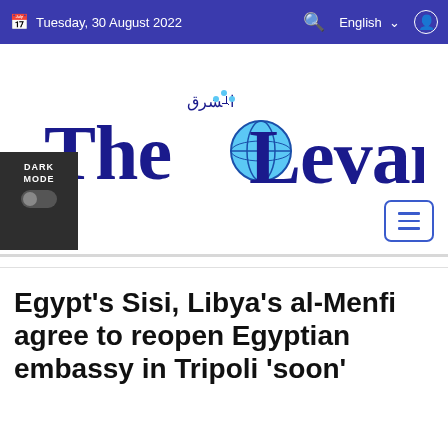Tuesday, 30 August 2022   English
[Figure (logo): The Levant newspaper logo — gothic/blackletter styled text reading 'The Levant' in dark blue with a light blue globe icon integrated into the letter 'o', and Arabic text above]
DARK MODE toggle
Egypt's Sisi, Libya's al-Menfi agree to reopen Egyptian embassy in Tripoli 'soon'